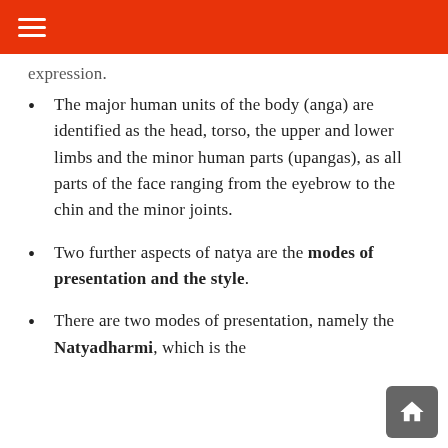≡
expression.
The major human units of the body (anga) are identified as the head, torso, the upper and lower limbs and the minor human parts (upangas), as all parts of the face ranging from the eyebrow to the chin and the minor joints.
Two further aspects of natya are the modes of presentation and the style.
There are two modes of presentation, namely the Natyadharmi, which is the